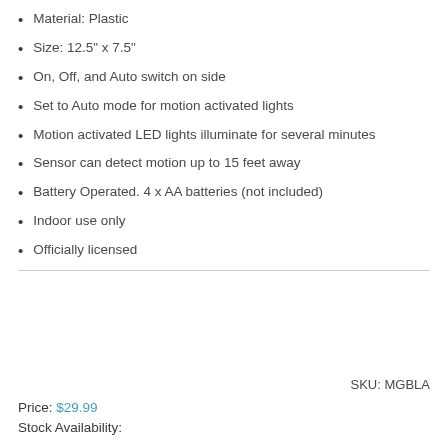Material: Plastic
Size: 12.5" x 7.5"
On, Off, and Auto switch on side
Set to Auto mode for motion activated lights
Motion activated LED lights illuminate for several minutes
Sensor can detect motion up to 15 feet away
Battery Operated. 4 x AA batteries (not included)
Indoor use only
Officially licensed
SKU: MGBLA
Price: $29.99
Stock Availability: